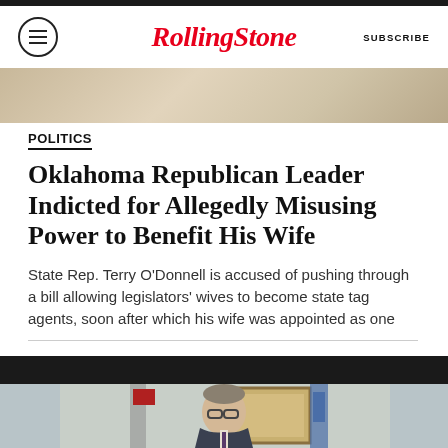RollingStone | SUBSCRIBE
[Figure (photo): Top cropped photo strip showing partial image]
POLITICS
Oklahoma Republican Leader Indicted for Allegedly Misusing Power to Benefit His Wife
State Rep. Terry O'Donnell is accused of pushing through a bill allowing legislators' wives to become state tag agents, soon after which his wife was appointed as one
[Figure (photo): Photo of man (Terry O'Donnell) in suit with glasses, speaking, with American flag and Oklahoma flag visible in background]